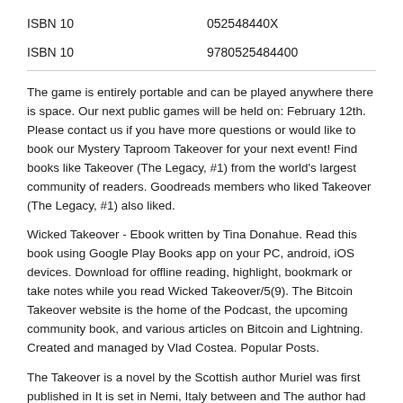| ISBN 10 | 052548440X |
| ISBN 10 | 9780525484400 |
The game is entirely portable and can be played anywhere there is space. Our next public games will be held on: February 12th. Please contact us if you have more questions or would like to book our Mystery Taproom Takeover for your next event! Find books like Takeover (The Legacy, #1) from the world's largest community of readers. Goodreads members who liked Takeover (The Legacy, #1) also liked.
Wicked Takeover - Ebook written by Tina Donahue. Read this book using Google Play Books app on your PC, android, iOS devices. Download for offline reading, highlight, bookmark or take notes while you read Wicked Takeover/5(9). The Bitcoin Takeover website is the home of the Podcast, the upcoming community book, and various articles on Bitcoin and Lightning. Created and managed by Vlad Costea. Popular Posts.
The Takeover is a novel by the Scottish author Muriel was first published in It is set in Nemi, Italy between and The author had moved to Italy as a permanent resident in the late s. Plot summary. Three large villas overlooking Lake Nemi are owned by the wealthy, glamorous American Maggie Radcliffe. One is occupied by her son and : Muriel Spark. - Loosely based by the video game franchise of the same name, Dr. Robotnik takes over the city of Mobotropolis with his political power and army of formerly government robots in a coup.